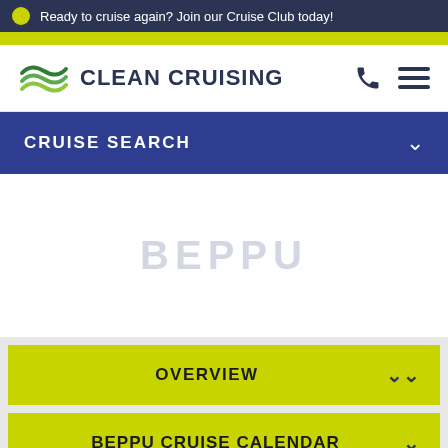Ready to cruise again? Join our Cruise Club today!
[Figure (logo): Clean Cruising logo with green wave icon and dark blue text]
CRUISE SEARCH
BEPPU
OVERVIEW
BEPPU CRUISE CALENDAR